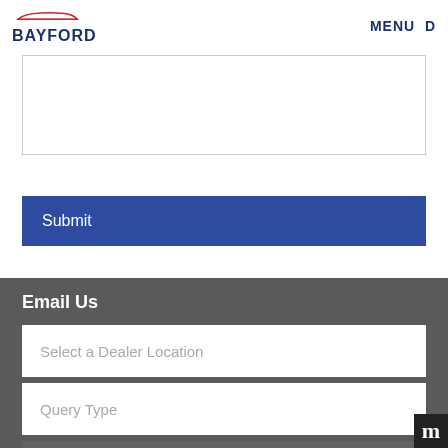BAYFORD  MENU D
[textarea input field]
Submit
Email Us
Select a Dealer Location
Query Type
Full Name
[Full Name input field]
Email Address
[Email Address input field]